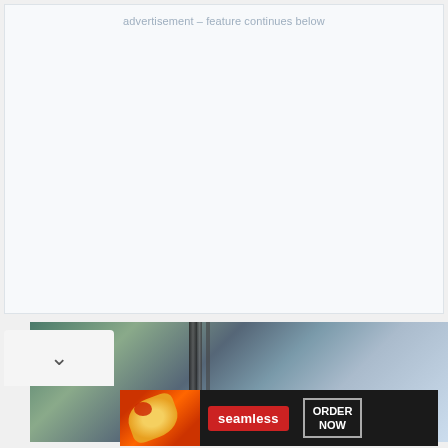advertisement – feature continues below
[Figure (photo): Blurred photo of a car window or train with diagonal streaks]
[Figure (infographic): Seamless food delivery banner ad with pizza image, Seamless logo, and ORDER NOW button]